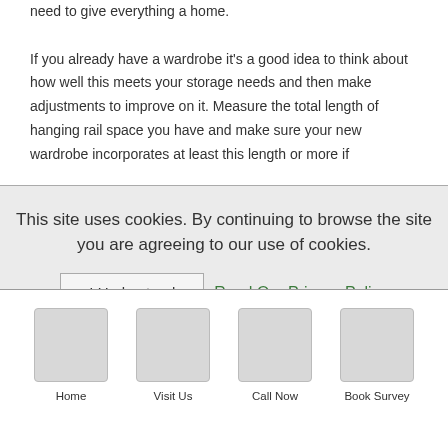need to give everything a home. If you already have a wardrobe it's a good idea to think about how well this meets your storage needs and then make adjustments to improve on it. Measure the total length of hanging rail space you have and make sure your new wardrobe incorporates at least this length or more if
This site uses cookies. By continuing to browse the site you are agreeing to our use of cookies. I Understand  Read Our Privacy Policy
[Figure (other): Footer navigation with four icon buttons: Home, Visit Us, Call Now, Book Survey]